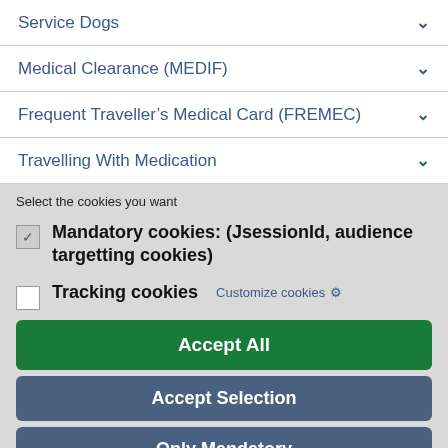Service Dogs
Medical Clearance (MEDIF)
Frequent Traveller's Medical Card (FREMEC)
Travelling With Medication
Select the cookies you want
Mandatory cookies: (JsessionId, audience targetting cookies)
Tracking cookies   Customize cookies ⚙
Accept All
Accept Selection
Only Mandatory